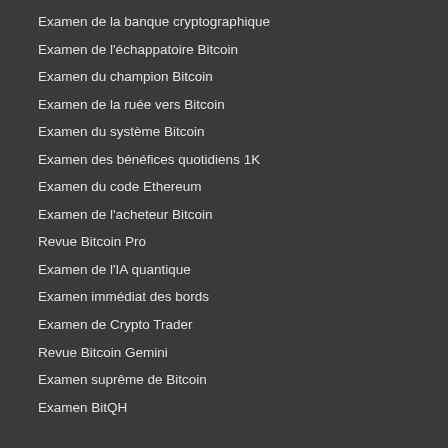Examen de la banque cryptographique
Examen de l'échappatoire Bitcoin
Examen du champion Bitcoin
Examen de la ruée vers Bitcoin
Examen du système Bitcoin
Examen des bénéfices quotidiens 1K
Examen du code Ethereum
Examen de l'acheteur Bitcoin
Revue Bitcoin Pro
Examen de l'IA quantique
Examen immédiat des bords
Examen de Crypto Trader
Revue Bitcoin Gemini
Examen suprême de Bitcoin
Examen BitQH